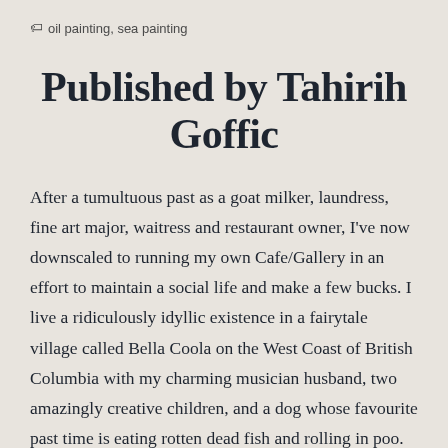oil painting, sea painting
Published by Tahirih Goffic
After a tumultuous past as a goat milker, laundress, fine art major, waitress and restaurant owner, I've now downscaled to running my own Cafe/Gallery in an effort to maintain a social life and make a few bucks. I live a ridiculously idyllic existence in a fairytale village called Bella Coola on the West Coast of British Columbia with my charming musician husband, two amazingly creative children, and a dog whose favourite past time is eating rotten dead fish and rolling in poo.